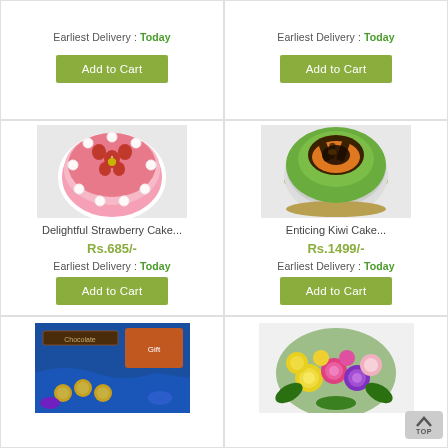[Figure (photo): Top of product card - partial, showing Add to Cart button area for first product]
Earliest Delivery : Today
Add to Cart
[Figure (photo): Top of product card - partial, showing Add to Cart button area for second product]
Earliest Delivery : Today
Add to Cart
[Figure (photo): Delightful Strawberry Cake - pink cake with strawberries and cream rosettes on top]
Delightful Strawberry Cake...
Rs.685/-
Earliest Delivery : Today
Add to Cart
[Figure (photo): Enticing Kiwi Cake - green kiwi flavored cake with chocolate decorations on top]
Enticing Kiwi Cake...
Rs.1499/-
Earliest Delivery : Today
Add to Cart
[Figure (photo): Bottom partial card - chocolates and Ferrero Rocher gift box on blue background]
[Figure (photo): Bottom partial card - colorful mixed roses bouquet with yellow, pink, purple flowers]